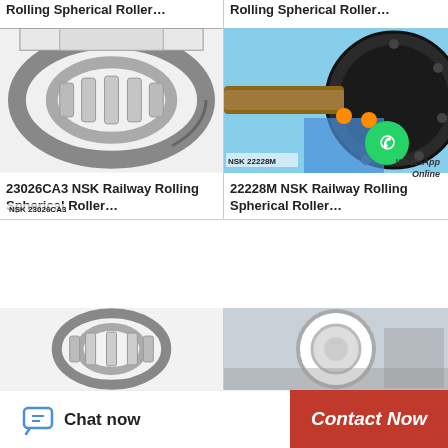Rolling Spherical Roller…
Rolling Spherical Roller…
[Figure (photo): Cross-section photo of NSK 23026CA3 railway rolling spherical roller bearing, showing internal roller and raceway detail, metallic silver finish]
[Figure (photo): Photo of NSK 22228M large spherical roller bearing being installed in industrial machinery by workers on a lift platform, with WhatsApp Online chat overlay]
23026CA3 NSK Railway Rolling Spherical Roller…
22228M NSK Railway Rolling Spherical Roller…
[Figure (photo): Partial photo of a small grey NSK spherical roller bearing]
[Figure (photo): Partial photo of a large white/silver spherical roller bearing in industrial setting]
Chat now
Contact Now